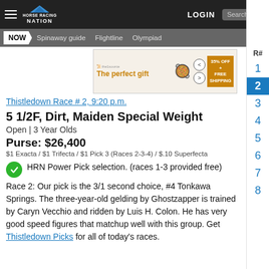Horse Racing Nation — NOW | Spinaway guide | Flightline | Olympiad
[Figure (screenshot): Advertisement banner: The perfect gift with food bowl image and 35% OFF + FREE SHIPPING offer]
Thistledown Race # 2, 9:20 p.m.
5 1/2F, Dirt, Maiden Special Weight
Open | 3 Year Olds
Purse: $26,400
$1 Exacta / $1 Trifecta / $1 Pick 3 (Races 2-3-4) / $.10 Superfecta
HRN Power Pick selection. (races 1-3 provided free)
Race 2: Our pick is the 3/1 second choice, #4 Tonkawa Springs. The three-year-old gelding by Ghostzapper is trained by Caryn Vecchio and ridden by Luis H. Colon. He has very good speed figures that matchup well with this group. Get Thistledown Picks for all of today's races.